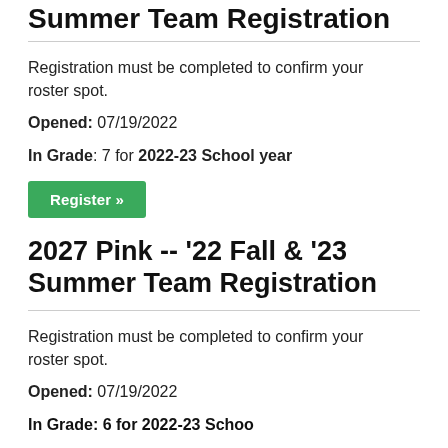Summer Team Registration
Registration must be completed to confirm your roster spot.
Opened:  07/19/2022
In Grade:  7  for 2022-23 School year
Register »
2027 Pink -- '22 Fall & '23 Summer Team Registration
Registration must be completed to confirm your roster spot.
Opened:  07/19/2022
In Grade: 6 for 2022-23 School year